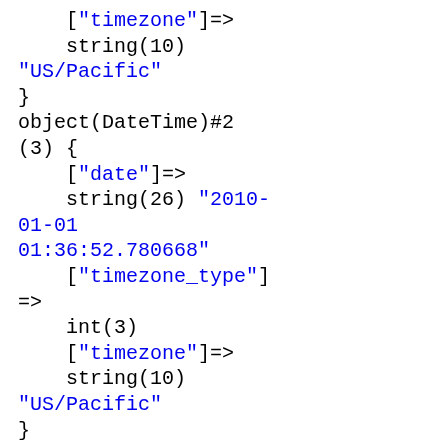["timezone"]=>
    string(10)
"US/Pacific"
}
object(DateTime)#2
(3) {
    ["date"]=>
    string(26) "2010-01-01 01:36:52.780668"
    ["timezone_type"]
=>
    int(3)
    ["timezone"]=>
    string(10)
"US/Pacific"
}